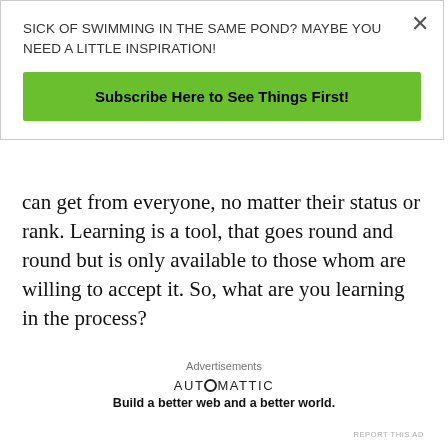SICK OF SWIMMING IN THE SAME POND? MAYBE YOU NEED A LITTLE INSPIRATION!
Subscribe Here to See Things First!
can get from everyone, no matter their status or rank. Learning is a tool, that goes round and round but is only available to those whom are willing to accept it. So, what are you learning in the process?
Advertisements
[Figure (logo): Automattic logo with circular O and tagline: Build a better web and a better world.]
REPORT THIS AD
** ** ** ** **
Lastly, 8. Most Importantly, Keep your focus!